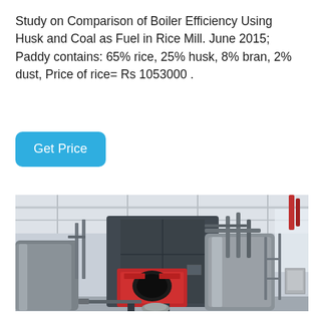Study on Comparison of Boiler Efficiency Using Husk and Coal as Fuel in Rice Mill. June 2015; Paddy contains: 65% rice, 25% husk, 8% bran, 2% dust, Price of rice= Rs 1053000 .
[Figure (other): A blue button labeled 'Get Price' with rounded corners on a white background]
[Figure (photo): Industrial boiler equipment inside a large facility. Shows large cylindrical boiler units with a prominent red combustion chamber/burner section in the foreground, metal piping, ductwork, and a high ceiling with industrial lighting. The machinery is grey and metallic with a red accent panel.]